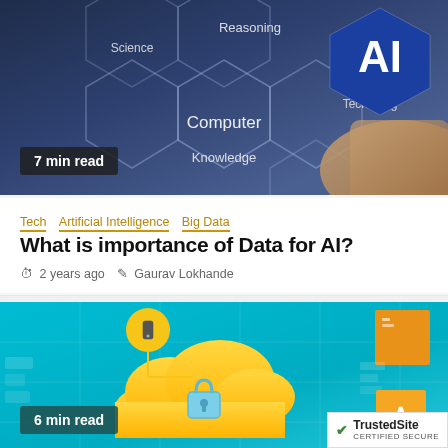[Figure (photo): AI technology concept image showing hexagonal network with keywords: Reasoning, Science, Computer, Knowledge, Technology, AI badge top right, person's hand pointing. Badge showing '7 min read' at bottom left.]
Tech  Artificial Intelligence  Big Data
What is importance of Data for AI?
2 years ago  Gaurav Lokhande
[Figure (illustration): Cloud security infographic on teal/cyan background with yellow cloud shape, padlock icon, phone icon in yellow circle, connector lines, yellow arrow square. Badge showing '6 min read' at bottom left. TrustedSite certified secure badge bottom right.]